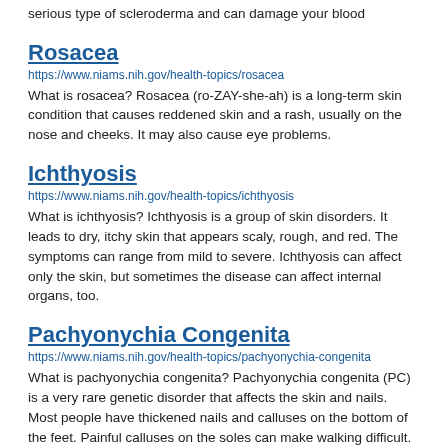serious type of scleroderma and can damage your blood
Rosacea
https://www.niams.nih.gov/health-topics/rosacea
What is rosacea? Rosacea (ro-ZAY-she-ah) is a long-term skin condition that causes reddened skin and a rash, usually on the nose and cheeks. It may also cause eye problems.
Ichthyosis
https://www.niams.nih.gov/health-topics/ichthyosis
What is ichthyosis? Ichthyosis is a group of skin disorders. It leads to dry, itchy skin that appears scaly, rough, and red. The symptoms can range from mild to severe. Ichthyosis can affect only the skin, but sometimes the disease can affect internal organs, too.
Pachyonychia Congenita
https://www.niams.nih.gov/health-topics/pachyonychia-congenita
What is pachyonychia congenita? Pachyonychia congenita (PC) is a very rare genetic disorder that affects the skin and nails. Most people have thickened nails and calluses on the bottom of the feet. Painful calluses on the soles can make walking difficult. Because of the pain, some people rely on a cane, crutches, or a wheelchair to